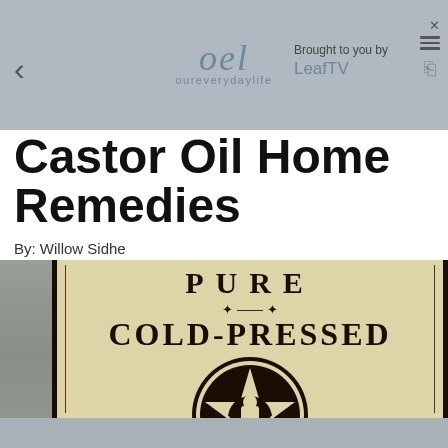oel oureverydaylife | Brought to you by LeafTV
Castor Oil Home Remedies
By: Willow Sidhe
[Figure (photo): Close-up of a vintage castor oil bottle label reading PURE COLD-PRESSED with a decorative circular emblem/star design in dark ink on aged cream/beige paper background]